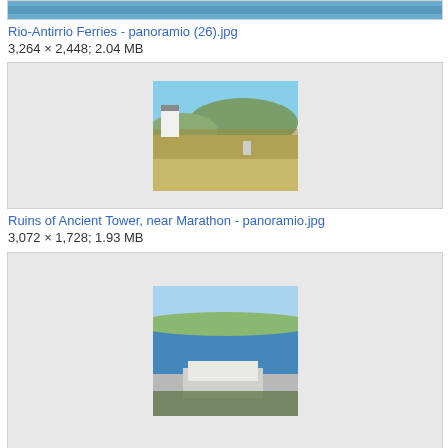[Figure (photo): Partial thumbnail image visible at top of page, cropped — appears to show water/coastal scene]
Rio-Antirrio Ferries - panoramio (26).jpg
3,264 × 2,448; 2.04 MB
[Figure (photo): Thumbnail photo of ruins area near Marathon — overgrown field with low stone structures, blue sky, hills in background]
Ruins of Ancient Tower, near Marathon - panoramio.jpg
3,072 × 1,728; 1.93 MB
[Figure (photo): Partial thumbnail of coastal/island scene — blue sea and white town visible, cropped at bottom]